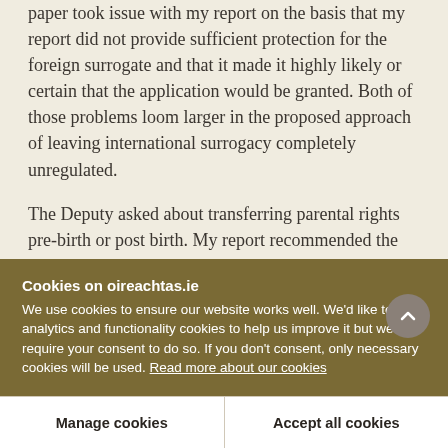paper took issue with my report on the basis that my report did not provide sufficient protection for the foreign surrogate and that it made it highly likely or certain that the application would be granted. Both of those problems loom larger in the proposed approach of leaving international surrogacy completely unregulated.
The Deputy asked about transferring parental rights pre-birth or post birth. My report recommended the pre-birth model which I believe is more in line with
Cookies on oireachtas.ie
We use cookies to ensure our website works well. We'd like to use analytics and functionality cookies to help us improve it but we require your consent to do so. If you don't consent, only necessary cookies will be used. Read more about our cookies
Manage cookies
Accept all cookies